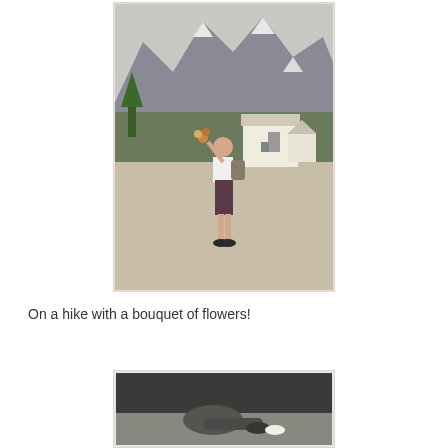[Figure (photo): Vintage color photograph of a person standing on a dirt path, holding a bouquet of flowers, with alpine mountains and snow-capped peaks in the background, and white buildings and trees visible in the middle distance.]
On a hike with a bouquet of flowers!
[Figure (photo): Black and white photograph, partially visible, showing a person lying or sitting on the ground, cropped at bottom of page.]